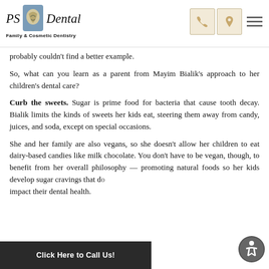PS Dental — Family & Cosmetic Dentistry
probably couldn't find a better example.
So, what can you learn as a parent from Mayim Bialik's approach to her children's dental care?
Curb the sweets. Sugar is prime food for bacteria that cause tooth decay. Bialik limits the kinds of sweets her kids eat, steering them away from candy, juices, and soda, except on special occasions.
She and her family are also vegans, so she doesn't allow her children to eat dairy-based candies like milk chocolate. You don't have to be vegan, though, to benefit from her overall philosophy — promoting natural foods so her kids develop sugar cravings that don't impact their dental health.
Click Here to Call Us!